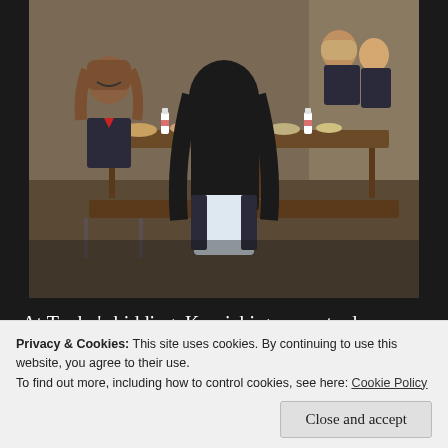[Figure (illustration): Anime screenshot showing schoolgirls in uniform sitting at cafeteria/classroom tables having lunch. One girl with long black hair is seen from behind, another girl with brown hair is laughing/smiling. Multiple students visible in background.]
At Touko's bidding, Komichi goes on to do a number of cute poses that capture the entire class' attention. Turns out she had nothing to fear from wearing a uniform different than everyone else. Everyone in the class is different and unique in their own way, and the
Privacy & Cookies: This site uses cookies. By continuing to use this website, you agree to their use.
To find out more, including how to control cookies, see here: Cookie Policy
Close and accept